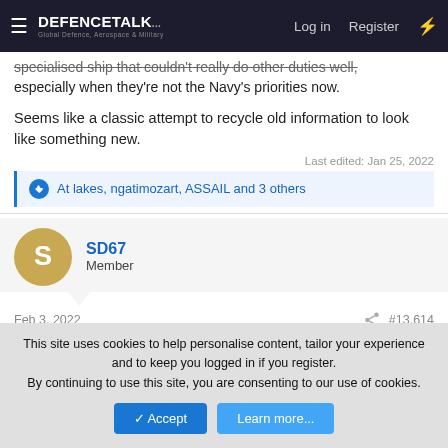DEFENCETALK — Log in  Register
specialised ship that couldn't really do other duties well, especially when they're not the Navy's priorities now.
Seems like a classic attempt to recycle old information to look like something new.
Last edited: Jan 25, 2022
At lakes, ngatimozart, ASSAIL and 3 others
SD67
Member
Feb 3, 2022  #13,614
This site uses cookies to help personalise content, tailor your experience and to keep you logged in if you register.
By continuing to use this site, you are consenting to our use of cookies.